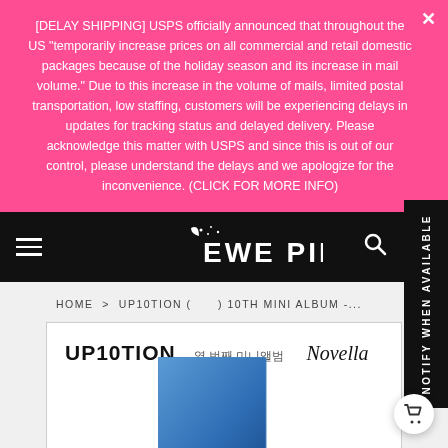[DELAY SHIPPING] USPS officially announced that throughout the US "temporarily increase prices on all commercial and retail domestic packages because of the holiday season and its increase in mail volume." Due to this increase in the volume of mails, limited postal transportation, low staffing, customers will be experiencing delays in updates for tracking status and delayed delivery. Please acknowledge this matter with USPS and since this is out of our control, please understand the delays and we apologize for the inconvenience. (CLICK FOR MORE INFO)
[Figure (logo): EWE PINK store logo in white text on black navigation bar]
HOME > UP10TION ( ) 10TH MINI ALBUM -...
[Figure (photo): UP10TION 10th mini album product image showing album box with blue packaging. Text reads UP10TION, Korean characters, and Novella]